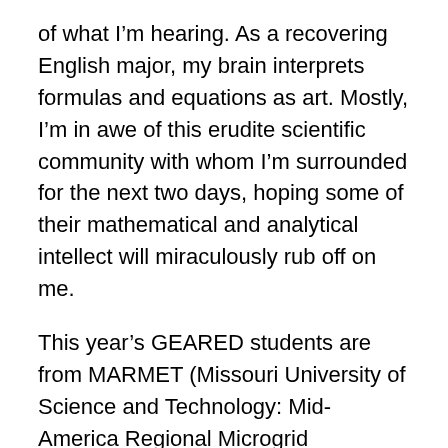of what I'm hearing. As a recovering English major, my brain interprets formulas and equations as art. Mostly, I'm in awe of this erudite scientific community with whom I'm surrounded for the next two days, hoping some of their mathematical and analytical intellect will miraculously rub off on me.
This year's GEARED students are from MARMET (Missouri University of Science and Technology: Mid-America Regional Microgrid Education and Training Consortium), one of three regional consortiums in the Distributed Technology Training Consortia (DTTC). MARMET is part of the GEARED Initiative that's preparing current and future electric utility professionals specifically to work with high penetrations of solar electricity and